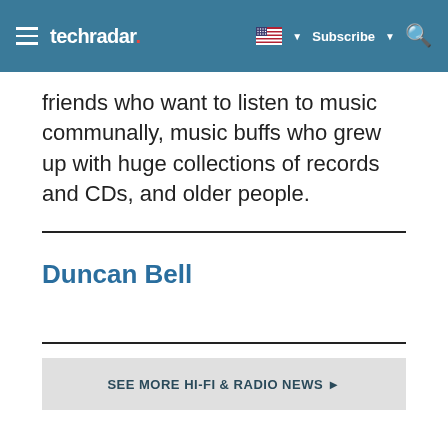techradar | Subscribe
friends who want to listen to music communally, music buffs who grew up with huge collections of records and CDs, and older people.
Duncan Bell
SEE MORE HI-FI & RADIO NEWS ▶